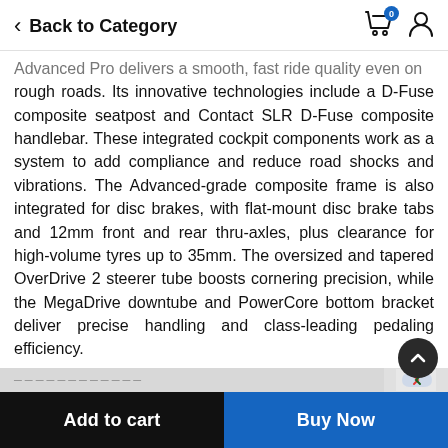Back to Category
Advanced Pro delivers a smooth, fast ride quality even on rough roads. Its innovative technologies include a D-Fuse composite seatpost and Contact SLR D-Fuse composite handlebar. These integrated cockpit components work as a system to add compliance and reduce road shocks and vibrations. The Advanced-grade composite frame is also integrated for disc brakes, with flat-mount disc brake tabs and 12mm front and rear thru-axles, plus clearance for high-volume tyres up to 35mm. The oversized and tapered OverDrive 2 steerer tube boosts cornering precision, while the MegaDrive downtube and PowerCore bottom bracket deliver precise handling and class-leading pedaling efficiency.
Key Features & Benefits:
Add to cart | Buy Now